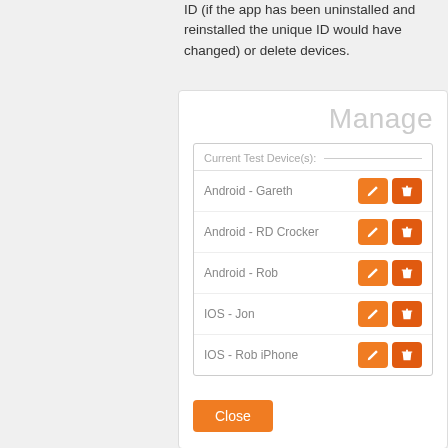ID (if the app has been uninstalled and reinstalled the unique ID would have changed) or delete devices.
[Figure (screenshot): A modal dialog titled 'Manage' showing a 'Current Test Device(s):' section listing: Android - Gareth, Android - RD Crocker, Android - Rob, IOS - Jon, IOS - Rob iPhone, each with edit (orange pencil) and delete (orange/red trash) buttons. A 'Close' button appears at the bottom.]